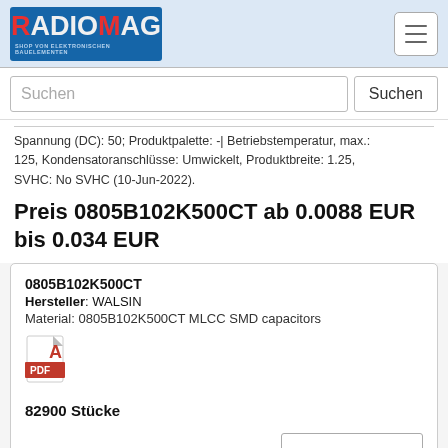[Figure (logo): RADIOMAG logo — blue background with red R, white ADIOMAG text, subtitle SHOP VON ELEKTRONISCHEN BAUELEMENTEN]
Suchen
Spannung (DC): 50; Produktpalette: -; Betriebstemperatur, max.: 125, Kondensatoranschlüsse: Umwickelt, Produktbreite: 1.25, SVHC: No SVHC (10-Jun-2022).
Preis 0805B102K500CT ab 0.0088 EUR bis 0.034 EUR
0805B102K500CT
Hersteller: WALSIN
Material: 0805B102K500CT MLCC SMD capacitors
[Figure (illustration): PDF file icon with red Adobe Acrobat symbol]
82900 Stücke
kaufen
0805B102K500CT